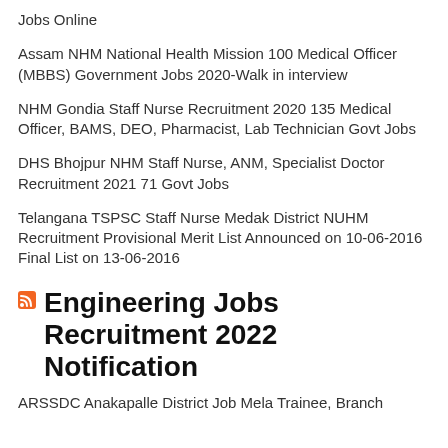Jobs Online
Assam NHM National Health Mission 100 Medical Officer (MBBS) Government Jobs 2020-Walk in interview
NHM Gondia Staff Nurse Recruitment 2020 135 Medical Officer, BAMS, DEO, Pharmacist, Lab Technician Govt Jobs
DHS Bhojpur NHM Staff Nurse, ANM, Specialist Doctor Recruitment 2021 71 Govt Jobs
Telangana TSPSC Staff Nurse Medak District NUHM Recruitment Provisional Merit List Announced on 10-06-2016 Final List on 13-06-2016
Engineering Jobs Recruitment 2022 Notification
ARSSDC Anakapalle District Job Mela Trainee, Branch